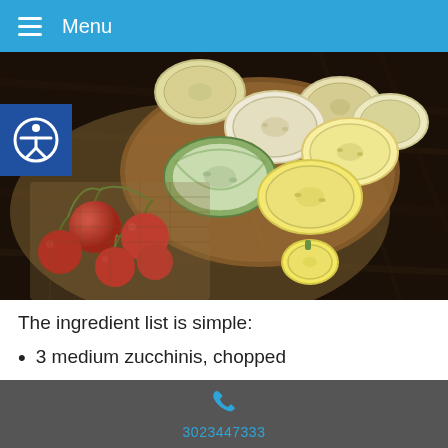Menu
[Figure (photo): Sliced zucchini and yellow squash rounds on a wooden cutting board with cherry tomatoes on a dark wood background]
The ingredient list is simple:
3 medium zucchinis, chopped
1 pint of cherry tomatoes, halved) If you want to
3023447333